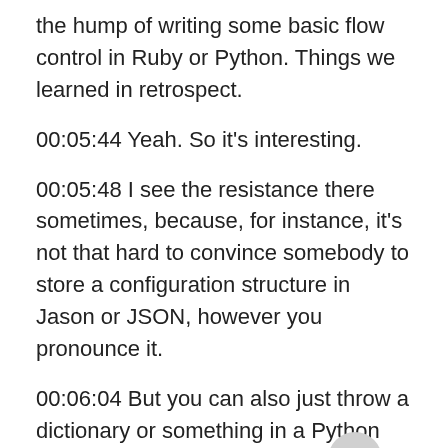the hump of writing some basic flow control in Ruby or Python. Things we learned in retrospect.
00:05:44 Yeah. So it's interesting.
00:05:48 I see the resistance there sometimes, because, for instance, it's not that hard to convince somebody to store a configuration structure in Jason or JSON, however you pronounce it.
00:06:04 But you can also just throw a dictionary or something in a Python dictionary in a Python file and just import that. But that freaks people out to consider a Python file a configuration file.
[Figure (other): Scroll-to-top button: circular grey button with upward-pointing triangle/arrow icon]
00:06:16 I have a theory on that specifically because, as I mentioned, my entire world was built